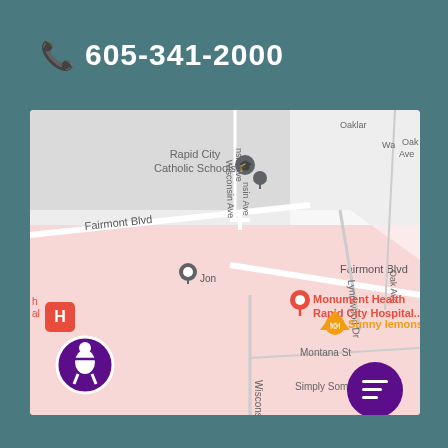📞 605-341-2000
[Figure (map): Google Maps screenshot showing Monument Health Rapid City Hospital area. Streets visible include Fairmont Blvd, Wisconsin Ave, Lynnwood Dr, Oak Ave, Montana St. Points of interest include Rapid City Catholic Schools, Monument Health Rapid City Hospital, Sunny lemons co, Simply Something. An accessibility icon (purple circle with person) is overlaid on the bottom-left of the map, and a purple chat button is in the bottom-right corner.]